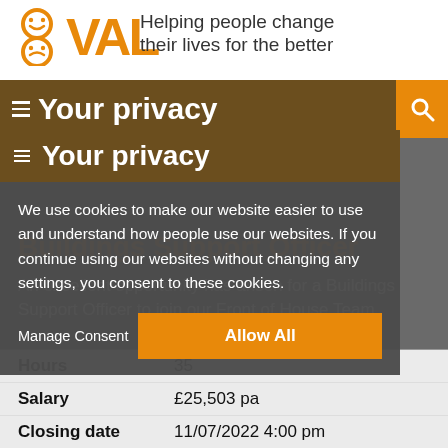[Figure (logo): 8VAL logo with smiley face circles and orange VAL text]
Helping people change their lives for the better
Your privacy
We use cookies to make our website easier to use and understand how people use our websites. If you continue using our websites without changing any settings, you consent to these cookies.
Buildings Support Officer
An excellent opportunity has arisen for a Buildings Support Officer to join our Front of House Team.
| Field | Value |
| --- | --- |
| Hours | 35 |
| Salary | £25,503 pa |
| Closing date | 11/07/2022 4:00 pm |